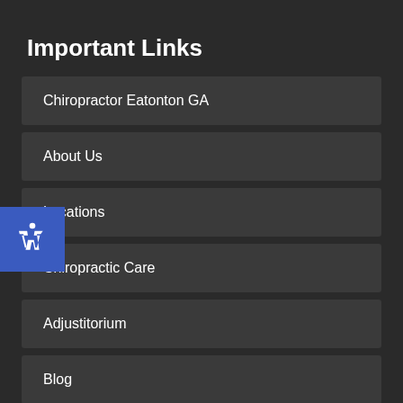Important Links
Chiropractor Eatonton GA
About Us
Locations
Chiropractic Care
Adjustitorium
Blog
Contact Us